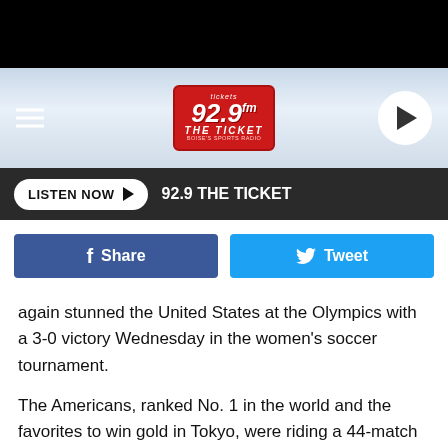[Figure (screenshot): 92.9 FM The Ticket radio station logo in red badge with white text]
LISTEN NOW ▶  92.9 THE TICKET
Share  Tweet
again stunned the United States at the Olympics with a 3-0 victory Wednesday in the women's soccer tournament.
The Americans, ranked No. 1 in the world and the favorites to win gold in Tokyo, were riding a 44-match unbeaten streak heading into the match.
But Sweden, ranked No. 5, has been the U.S. team's nemesis